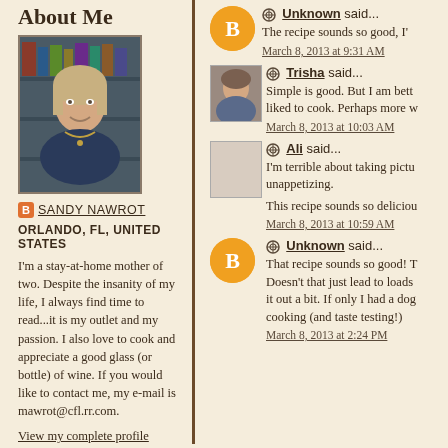About Me
[Figure (photo): Profile photo of Sandy Nawrot, a woman with blonde hair]
SANDY NAWROT
ORLANDO, FL, UNITED STATES
I'm a stay-at-home mother of two. Despite the insanity of my life, I always find time to read...it is my outlet and my passion. I also love to cook and appreciate a good glass (or bottle) of wine. If you would like to contact me, my e-mail is mawrot@cfl.rr.com.
View my complete profile
Unknown said...
The recipe sounds so good, I'
March 8, 2013 at 9:31 AM
Trisha said...
Simple is good. But I am bett liked to cook. Perhaps more w
March 8, 2013 at 10:03 AM
Ali said...
I'm terrible about taking pictu unappetizing.
This recipe sounds so deliciou
March 8, 2013 at 10:59 AM
Unknown said...
That recipe sounds so good! T Doesn't that just lead to loads it out a bit. If only I had a dog cooking (and taste testing!)
March 8, 2013 at 2:24 PM